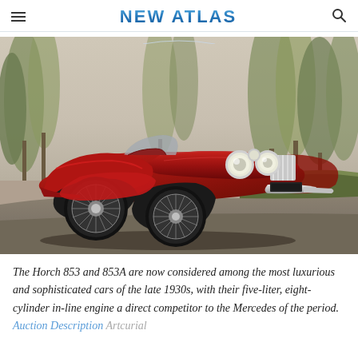NEW ATLAS
[Figure (photo): A vintage red Horch 853 convertible automobile photographed outdoors on a road with trees in the background. The classic pre-war luxury car features large round headlamps, chrome details, wire wheels, and elegant curved bodywork.]
The Horch 853 and 853A are now considered among the most luxurious and sophisticated cars of the late 1930s, with their five-liter, eight-cylinder in-line engine a direct competitor to the Mercedes of the period. Auction Description Artcurial